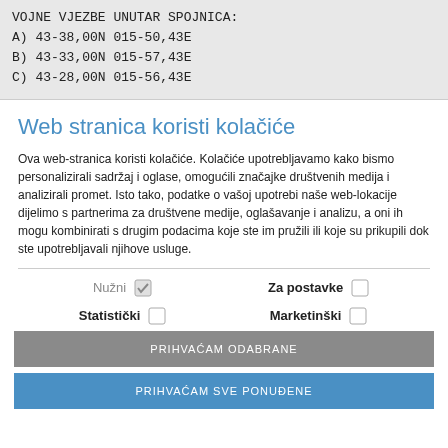VOJNE VJEZBE UNUTAR SPOJNICA:
A) 43-38,00N 015-50,43E
B) 43-33,00N 015-57,43E
C) 43-28,00N 015-56,43E
Web stranica koristi kolačiće
Ova web-stranica koristi kolačiće. Kolačiće upotrebljavamo kako bismo personalizirali sadržaj i oglase, omogućili značajke društvenih medija i analizirali promet. Isto tako, podatke o vašoj upotrebi naše web-lokacije dijelimo s partnerima za društvene medije, oglašavanje i analizu, a oni ih mogu kombinirati s drugim podacima koje ste im pružili ili koje su prikupili dok ste upotrebljavali njihove usluge.
Nužni [checked] Za postavke [ ] Statistički [ ] Marketinški [ ]
PRIHVAĆAM ODABRANE
PRIHVAĆAM SVE PONUĐENE